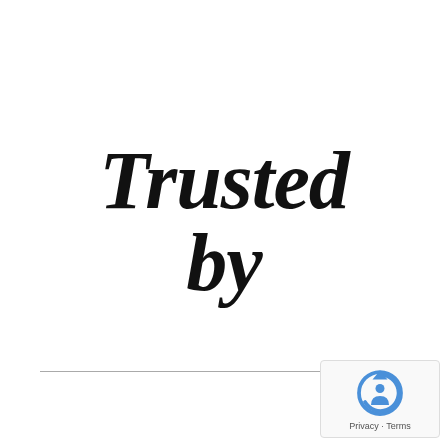Trusted by
[Figure (logo): reCAPTCHA logo with Privacy and Terms links]